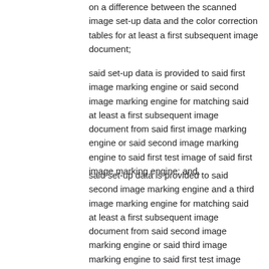on a difference between the scanned image set-up data and the color correction tables for at least a first subsequent image document;
said set-up data is provided to said first image marking engine or said second image marking engine for matching said at least a first subsequent image document from said first image marking engine or said second image marking engine to said first test image of said first image marking engine; and,
said set-up data is provided to said second image marking engine and a third image marking engine for matching said at least a first subsequent image document from said second image marking engine or said third image marking engine to said first test image document of said first image marking engine.
8. The system of claim 7, wherein said set-up data includes information for calculating and updating color correction tables and actual set-up targets for at least a second subsequent image document; and,
said at least a first subsequent image document printed from said second image marking engine and